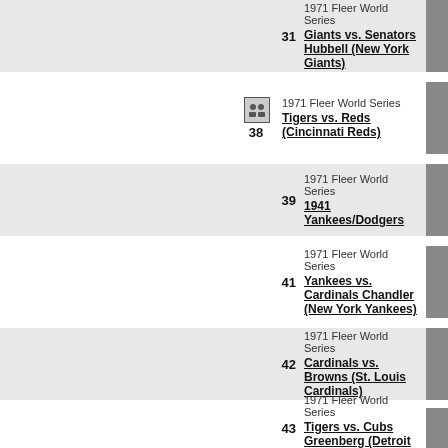31 1971 Fleer World Series Giants vs. Senators Hubbell (New York Giants)
38 1971 Fleer World Series Tigers vs. Reds (Cincinnati Reds)
39 1971 Fleer World Series 1941 Yankees/Dodgers
41 1971 Fleer World Series Yankees vs. Cardinals Chandler (New York Yankees)
42 1971 Fleer World Series Cardinals vs. Browns (St. Louis Cardinals)
43 1971 Fleer World Series Tigers vs. Cubs Greenberg (Detroit Tigers)